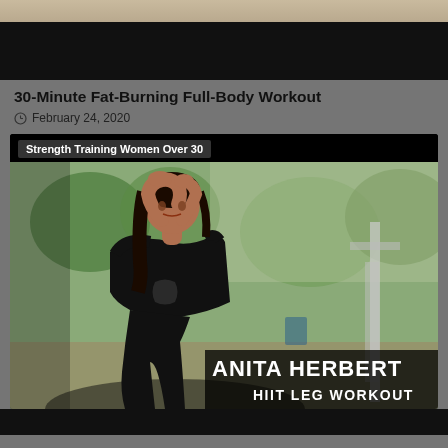[Figure (photo): Tan/wood-colored top bar image strip]
[Figure (photo): Black bar / video thumbnail top portion]
30-Minute Fat-Burning Full-Body Workout
February 24, 2020
[Figure (photo): Video thumbnail card with label 'Strength Training Women Over 30' and photo of Anita Herbert with text overlay 'ANITA HERBERT HIIT LEG WORKOUT']
[Figure (photo): Black bar at bottom]